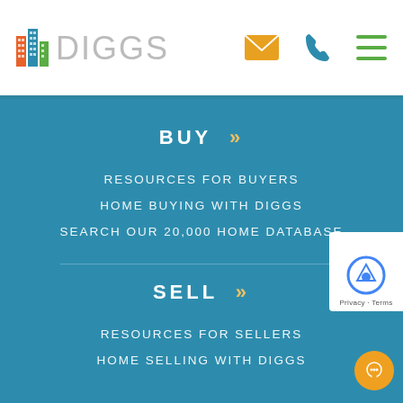[Figure (logo): Diggs real estate logo with colorful building icon and gray 'DIGGS' wordmark, plus email/phone/menu icons in the header]
BUY »
RESOURCES FOR BUYERS
HOME BUYING WITH DIGGS
SEARCH OUR 20,000 HOME DATABASE
SELL »
RESOURCES FOR SELLERS
HOME SELLING WITH DIGGS